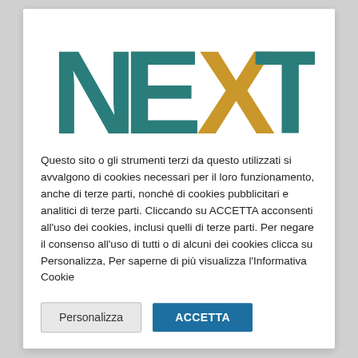[Figure (logo): NEXT logo with teal letters N, E, T and a golden/yellow X overlapping, on white background]
Questo sito o gli strumenti terzi da questo utilizzati si avvalgono di cookies necessari per il loro funzionamento, anche di terze parti, nonché di cookies pubblicitari e analitici di terze parti. Cliccando su ACCETTA acconsenti all'uso dei cookies, inclusi quelli di terze parti. Per negare il consenso all'uso di tutti o di alcuni dei cookies clicca su Personalizza, Per saperne di più visualizza l'Informativa Cookie